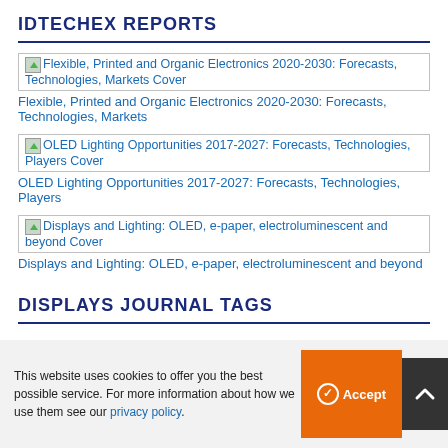IDTECHEX REPORTS
Flexible, Printed and Organic Electronics 2020-2030: Forecasts, Technologies, Markets Cover
Flexible, Printed and Organic Electronics 2020-2030: Forecasts, Technologies, Markets
OLED Lighting Opportunities 2017-2027: Forecasts, Technologies, Players Cover
OLED Lighting Opportunities 2017-2027: Forecasts, Technologies, Players
Displays and Lighting: OLED, e-paper, electroluminescent and beyond Cover
Displays and Lighting: OLED, e-paper, electroluminescent and beyond
DISPLAYS JOURNAL TAGS
This website uses cookies to offer you the best possible service. For more information about how we use them see our privacy policy.